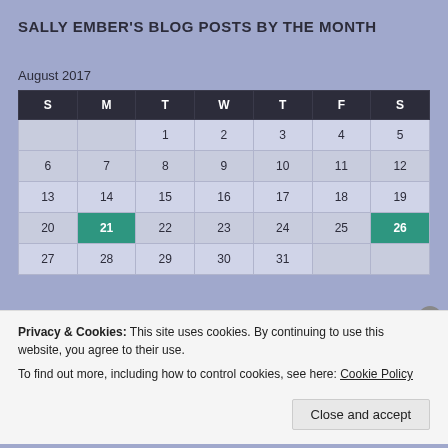SALLY EMBER'S BLOG POSTS BY THE MONTH
August 2017
| S | M | T | W | T | F | S |
| --- | --- | --- | --- | --- | --- | --- |
|  |  | 1 | 2 | 3 | 4 | 5 |
| 6 | 7 | 8 | 9 | 10 | 11 | 12 |
| 13 | 14 | 15 | 16 | 17 | 18 | 19 |
| 20 | 21 | 22 | 23 | 24 | 25 | 26 |
| 27 | 28 | 29 | 30 | 31 |  |  |
« Jul  Sep »
Privacy & Cookies: This site uses cookies. By continuing to use this website, you agree to their use.
To find out more, including how to control cookies, see here: Cookie Policy